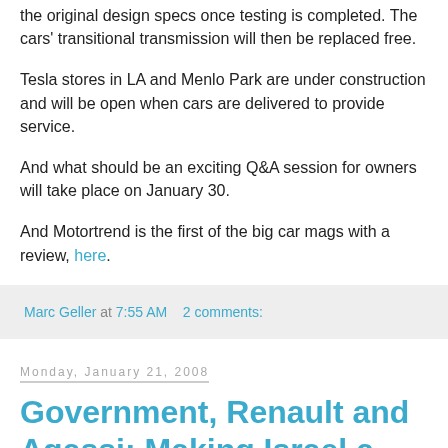the original design specs once testing is completed. The cars' transitional transmission will then be replaced free.
Tesla stores in LA and Menlo Park are under construction and will be open when cars are delivered to provide service.
And what should be an exciting Q&A session for owners will take place on January 30.
And Motortrend is the first of the big car mags with a review, here.
Marc Geller at 7:55 AM   2 comments:
Monday, January 21, 2008
Government, Renault and Agassi: Making Israel a Better Place for Electric Cars